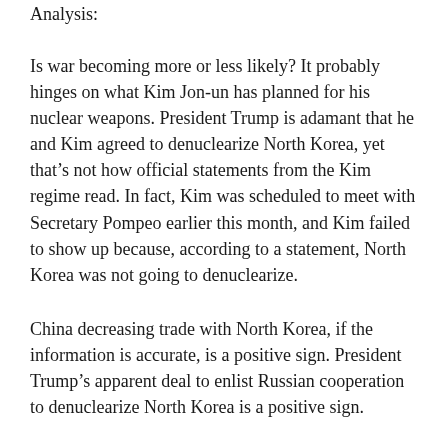Analysis:
Is war becoming more or less likely? It probably hinges on what Kim Jon-un has planned for his nuclear weapons. President Trump is adamant that he and Kim agreed to denuclearize North Korea, yet that’s not how official statements from the Kim regime read. In fact, Kim was scheduled to meet with Secretary Pompeo earlier this month, and Kim failed to show up because, according to a statement, North Korea was not going to denuclearize.
China decreasing trade with North Korea, if the information is accurate, is a positive sign. President Trump’s apparent deal to enlist Russian cooperation to denuclearize North Korea is a positive sign.